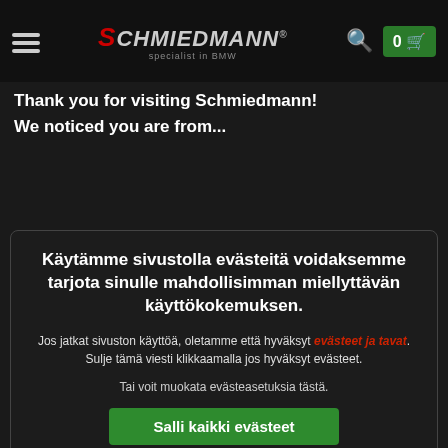[Figure (screenshot): Schmiedmann website header with hamburger menu, red S logo, search icon, and green cart button showing 0]
Thank you for visiting Schmiedmann!
We noticed you are from...
Käytämme sivustolla evästeitä voidaksemme tarjota sinulle mahdollisimman miellyttävän käyttökokemuksen.
Jos jatkat sivuston käyttöä, oletamme että hyväksyt evästeet ja tavat. Sulje tämä viesti klikkaamalla jos hyväksyt evästeet.
Tai voit muokata evästeasetuksia tästä.
Salli kaikki evästeet
Salli valitut evästeet
Vaadittu
Markkinointi
Suorituskyky
Toiminnallisuus
Näytä yksityiskohdat